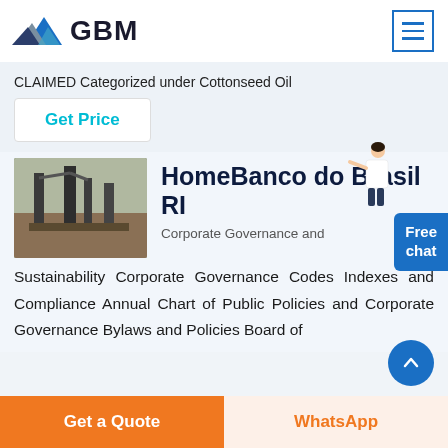GBM
CLAIMED Categorized under Cottonseed Oil
Get Price
[Figure (photo): Industrial machinery / refinery equipment photo]
HomeBanco do Brasil RI
Corporate Governance and Sustainability Corporate Governance Codes Indexes and Compliance Annual Chart of Public Policies and Corporate Governance Bylaws and Policies Board of
Free chat
Get a Quote
WhatsApp